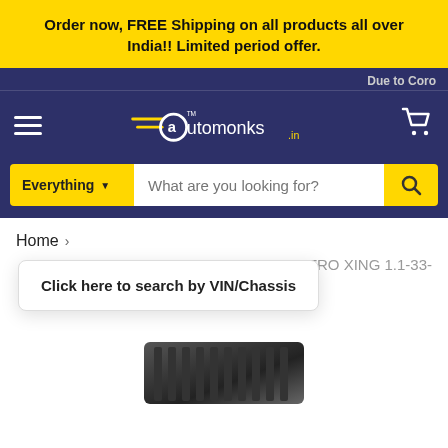Order now, FREE Shipping on all products all over India!! Limited period offer.
[Figure (logo): Automonks.in logo with navigation bar including hamburger menu, logo, and cart icon on dark blue background]
Due to Coro
Home >
DAI - SANTRO XING 1.1-33-
Click here to search by VIN/Chassis
[Figure (photo): Partial view of a dark colored car part/air filter at the bottom of the page]